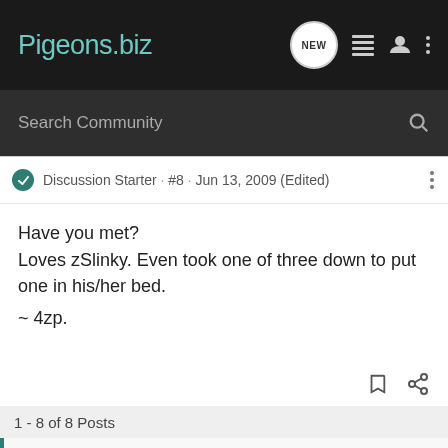Pigeons.biz
Search Community
Discussion Starter · #8 · Jun 13, 2009 (Edited)
Have you met?
Loves zSlinky. Even took one of three down to put one in his/her bed.
~ 4zp.
1 - 8 of 8 Posts
This is an older thread, you may not receive a response, and could be reviving an old thread. Please consider creating a new thread.